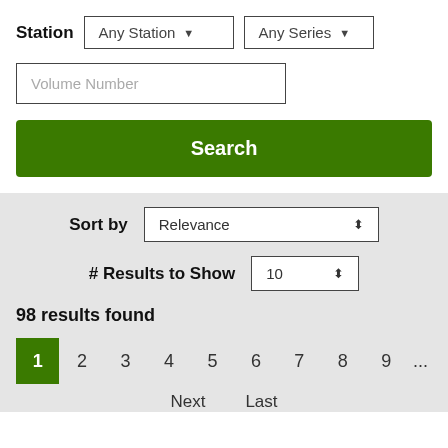Station   Any Station ▼   Any Series ▼
Volume Number
Search
Sort by   Relevance ⬍
# Results to Show   10 ⬍
98 results found
1  2  3  4  5  6  7  8  9  ...
Next   Last